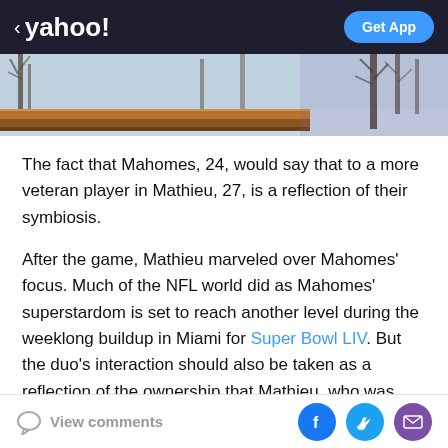< yahoo!  Get App
[Figure (photo): Outdoor winter photo showing bare trees against a grey sky with a wooden beam/railing structure in the foreground]
The fact that Mahomes, 24, would say that to a more veteran player in Mathieu, 27, is a reflection of their symbiosis.
After the game, Mathieu marveled over Mahomes' focus. Much of the NFL world did as Mahomes' superstardom is set to reach another level during the weeklong buildup in Miami for Super Bowl LIV. But the duo's interaction should also be taken as a reflection of the ownership that Mathieu, who was signed to a three-year, $42 million contract last offseason, has taken over
View comments